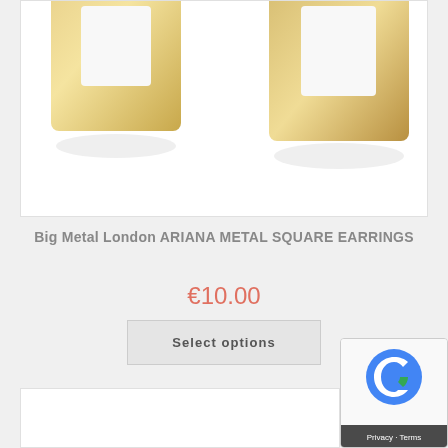[Figure (photo): Two gold-colored metal square earrings shown against a white background, partially cropped at the top]
Big Metal London ARIANA METAL SQUARE EARRINGS
€10.00
Select options
[Figure (photo): Bottom edge of another product image preview (white background, partially visible)]
[Figure (other): reCAPTCHA badge with Google logo and Privacy / Terms text]